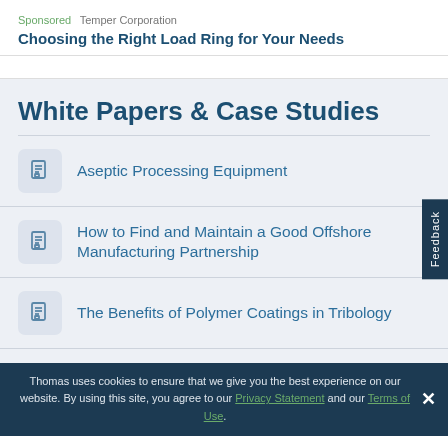Sponsored  Temper Corporation
Choosing the Right Load Ring for Your Needs
White Papers & Case Studies
Aseptic Processing Equipment
How to Find and Maintain a Good Offshore Manufacturing Partnership
The Benefits of Polymer Coatings in Tribology
Thomas uses cookies to ensure that we give you the best experience on our website. By using this site, you agree to our Privacy Statement and our Terms of Use.